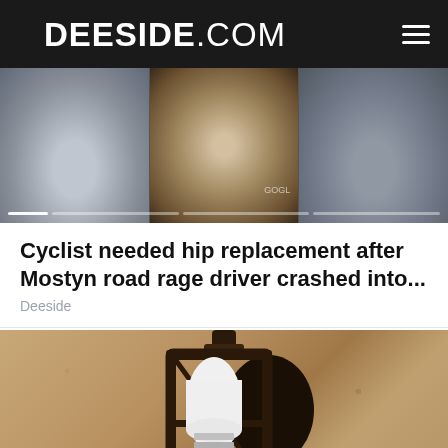DEESIDE.COM
[Figure (photo): Three blurred faces side by side, with progress bar segments at bottom]
Cyclist needed hip replacement after Mostyn road rage driver crashed into...
Deeside
[Figure (photo): Outdoor wall-mounted lantern with a large white light bulb and security camera lens at bottom, against a textured beige stucco wall]